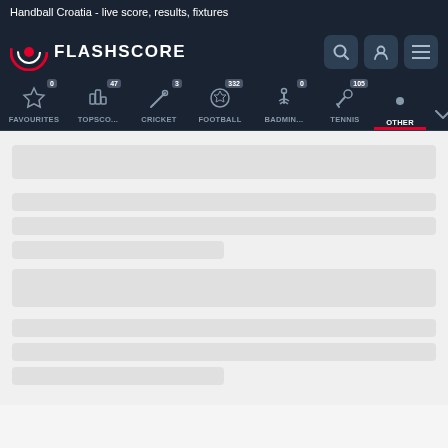Handball Croatia - live score, results, fixtures
[Figure (screenshot): Flashscore website navigation header with logo, search, user and menu icons, and sports category tabs including Favourites (0), Topscorer (47), Cricket (3), Football (332), Badminton (0), Tennis (105), Other (active/selected)]
[Figure (other): Loading skeleton placeholder blocks for content area - multiple grey rounded rectangles indicating page loading state]